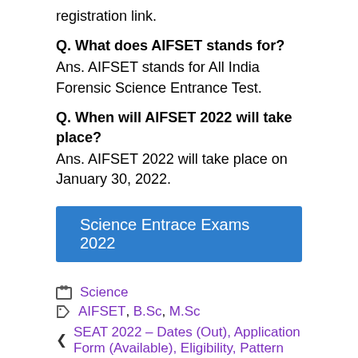registration link.
Q. What does AIFSET stands for?
Ans. AIFSET stands for All India Forensic Science Entrance Test.
Q. When will AIFSET 2022 will take place?
Ans. AIFSET 2022 will take place on January 30, 2022.
[Figure (other): Blue button labeled Science Entrace Exams 2022]
Science
AIFSET, B.Sc, M.Sc
SEAT 2022 – Dates (Out), Application Form (Available), Eligibility, Pattern